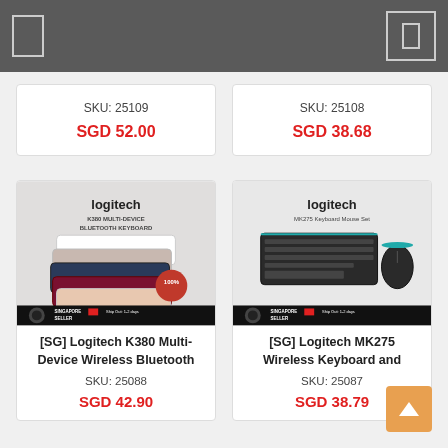Navigation bar with menu icon and cart icon
SKU: 25109
SGD 52.00
SKU: 25108
SGD 38.68
[Figure (photo): Logitech K380 Multi-Device Bluetooth Keyboard product image with Singapore Seller badge and 100% authentic seal]
[SG] Logitech K380 Multi-Device Wireless Bluetooth
SKU: 25088
SGD 42.90
[Figure (photo): Logitech MK275 Keyboard Mouse Set product image with Singapore Seller badge]
[SG] Logitech MK275 Wireless Keyboard and
SKU: 25087
SGD 38.79